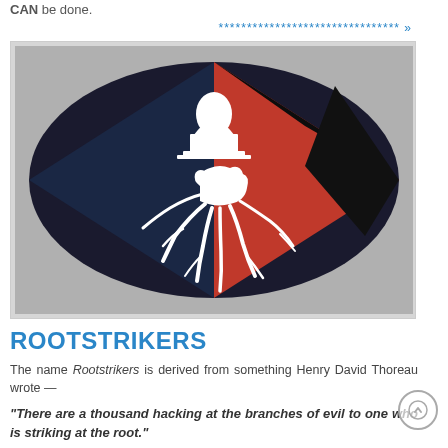CAN be done.
********************************** »
[Figure (logo): Rootstrikers logo: a diamond-shaped emblem with dark navy and red sections, featuring a white silhouette of the US Capitol building above a clenched fist with root-like tendrils extending downward.]
ROOTSTRIKERS
The name Rootstrikers is derived from something Henry David Thoreau wrote —
"There are a thousand hacking at the branches of evil to one who is striking at the root."
Rootstrikers was founded by Harvard scholar Larry Lessig, author of Republic, Lost: How Money Corrupts Congress–and a Plan to Stop It. Rootstrikers is a nonpartisan part of that plan.
Rootstrikers is fighting the cause, not just the symptoms, of the problems in Congress. For more information on Rootstrikers, visit their web site by clicking on the logo